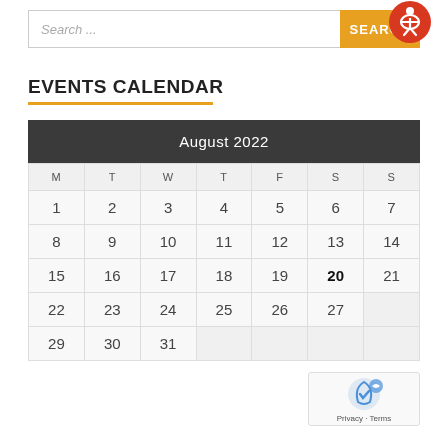Search ...
SEARCH
EVENTS CALENDAR
| M | T | W | T | F | S | S |
| --- | --- | --- | --- | --- | --- | --- |
| 1 | 2 | 3 | 4 | 5 | 6 | 7 |
| 8 | 9 | 10 | 11 | 12 | 13 | 14 |
| 15 | 16 | 17 | 18 | 19 | 20 | 21 |
| 22 | 23 | 24 | 25 | 26 | 27 |  |
| 29 | 30 | 31 |  |  |  |  |